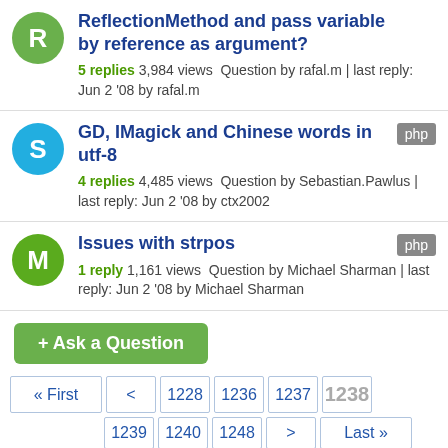ReflectionMethod and pass variable by reference as argument? 5 replies 3,984 views Question by rafal.m | last reply: Jun 2 '08 by rafal.m
GD, IMagick and Chinese words in utf-8 [php] 4 replies 4,485 views Question by Sebastian.Pawlus | last reply: Jun 2 '08 by ctx2002
Issues with strpos [php] 1 reply 1,161 views Question by Michael Sharman | last reply: Jun 2 '08 by Michael Sharman
+ Ask a Question
« First  <  1228  1236  1237  1238  1239  1240  1248  >  Last »